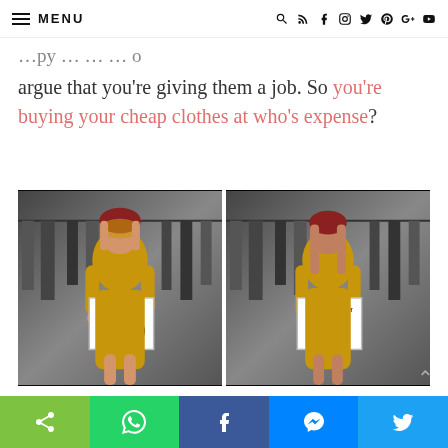MENU | icons: search, rss, facebook, instagram, twitter, pinterest, google+, youtube
argue that you're giving them a job. So you're buying your cheap clothes at who's expense?
[Figure (photo): Two side-by-side photos in black and white background. Left: Asian woman in yellow dress holding sign 'I made this for $0,60'. Right: same or similar woman in yellow dress holding sign 'I bought this for $50'.]
Via HerCampus.com.